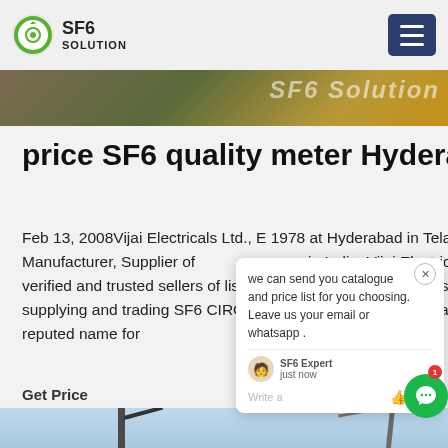SF6 SOLUTION
[Figure (screenshot): Website header banner with industrial imagery and orange SF6 branding text]
price SF6 quality meter Hyderabad
Feb 13, 2008Vijai Electricals Ltd., E 1978 at Hyderabad in Telangana, is Exporter, Manufacturer, Supplier of in India. Vijai Electricals Ltd. is one verified and trusted sellers of listed products. With their extensive experience of supplying and trading SF6 CIRCUIT BREAKER, Vijai Electricals Ltd. has made a reputed name for
Get Price
[Figure (photo): Bottom portion showing cranes against a blue sky]